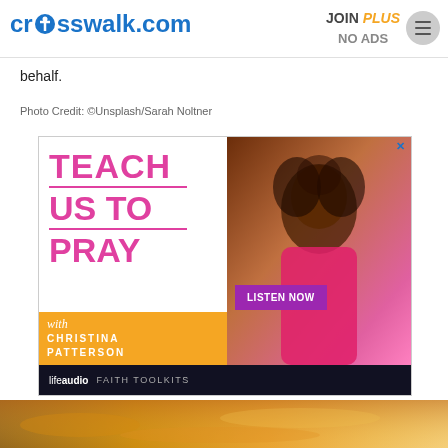crosswalk.com | JOIN PLUS NO ADS
behalf.
Photo Credit: ©Unsplash/Sarah Noltner
[Figure (illustration): Advertisement for 'Teach Us To Pray with Christina Patterson' podcast on lifeaudio Faith Toolkits, featuring pink text on white left side and a smiling woman in a pink top on the right side, with a purple 'LISTEN NOW' button and orange banner with podcast host name.]
[Figure (photo): Bottom portion of a photo showing a golden/orange sky with clouds, likely a sunset or sunrise scene.]